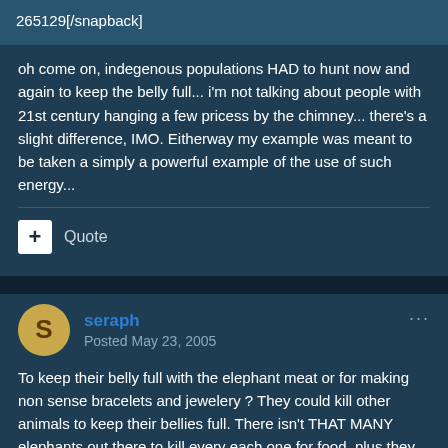265129[/snapback]
oh come on, indegenous populations HAD to hunt now and again to keep the belly full... i'm not talking about people with 21st century hanging a few pricess by the chimney... there's a slight difference, IMO. Eitherway my example was meant to be taken a simply a powerful example of the use of such energy...
Quote
seraph
Posted May 23, 2005
To keep their belly full with the elephant meat or for making non sense bracelets and jewelery ? They could kill other animals to keep their bellies full. There isn't THAT MANY elephants out there to kill every each one for food, plus they are probably not having elephant farms so they can kill as much as they can...Huh, sorry,